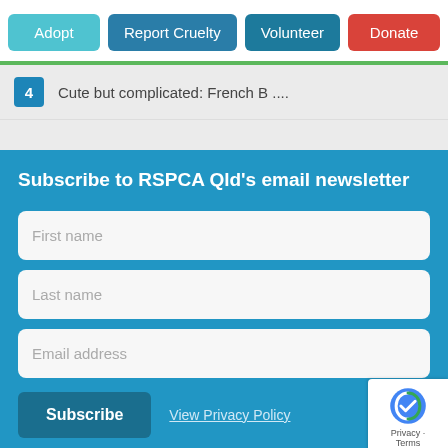[Figure (screenshot): Navigation bar with four buttons: Adopt (light blue), Report Cruelty (medium blue), Volunteer (teal blue), Donate (red)]
4   Cute but complicated: French B ....
Subscribe to RSPCA Qld's email newsletter
First name
Last name
Email address
Subscribe
View Privacy Policy